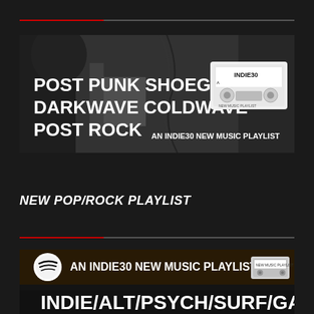[Figure (illustration): Black and white banner image with cassette tape graphic. Text reads: POST PUNK SHOEGAZE DARKWAVE COLDWAVE POST ROCK AN INDIE30 NEW MUSIC PLAYLIST]
NEW POP/ROCK PLAYLIST
[Figure (illustration): Dark banner with Spotify logo, text AN INDIE30 NEW MUSIC PLAYLIST with cassette tape icon, and partial text INDIE/ALT/PSYCH/SURF/GARAGE visible at bottom]